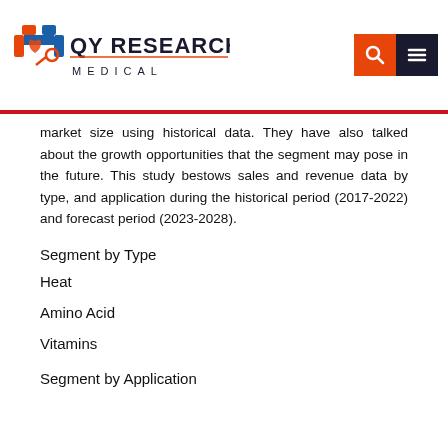QY RESEARCH MEDICAL
market size using historical data. They have also talked about the growth opportunities that the segment may pose in the future. This study bestows sales and revenue data by type, and application during the historical period (2017-2022) and forecast period (2023-2028).
Segment by Type
Heat
Amino Acid
Vitamins
Segment by Application